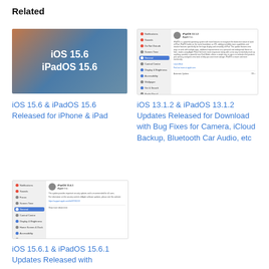Related
[Figure (screenshot): iOS 15.6 iPadOS 15.6 text on gradient background]
iOS 15.6 & iPadOS 15.6 Released for iPhone & iPad
[Figure (screenshot): iOS settings screen showing iPadOS 13.1.2 update details]
iOS 13.1.2 & iPadOS 13.1.2 Updates Released for Download with Bug Fixes for Camera, iCloud Backup, Bluetooth Car Audio, etc
[Figure (screenshot): iOS settings screen showing iPadOS 15.6.1 update details]
iOS 15.6.1 & iPadOS 15.6.1 Updates Released with